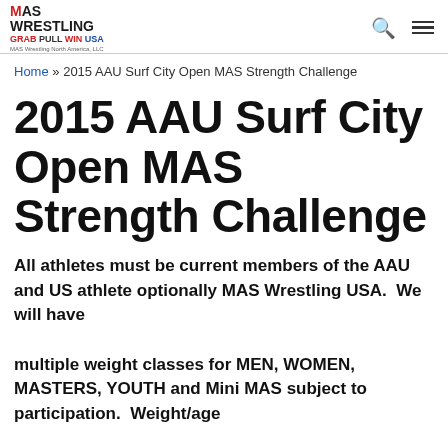MAS Wrestling GRAB PULL WIN USA MAS Wrestling North America, LLC
Home » 2015 AAU Surf City Open MAS Strength Challenge
2015 AAU Surf City Open MAS Strength Challenge
All athletes must be current members of the AAU and US athlete optionally MAS Wrestling USA.  We will have multiple weight classes for MEN, WOMEN, MASTERS, YOUTH and Mini MAS subject to participation.  Weight/age